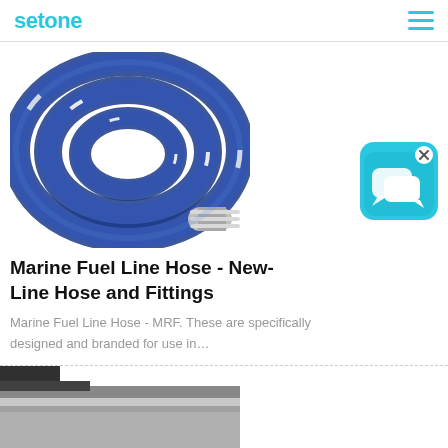setone
[Figure (photo): Coiled blue marine fuel line hose with silver metal end fitting]
[Figure (illustration): Blue chat/messaging app icon with speech bubbles and an X close button]
Marine Fuel Line Hose - New-Line Hose and Fittings
Marine Fuel Line Hose - MRF. These are specifically designed and branded for use in…
[Figure (photo): Partial image of a dark grey/silver hose or fitting partially visible at bottom of page]